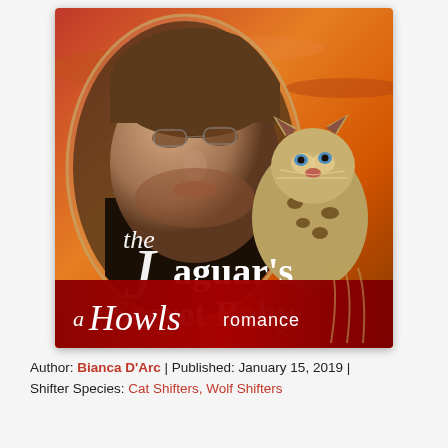[Figure (illustration): Book cover for 'The Jaguar's Secret Baby — a Howls Romance'. Shows a man's face (close-up, stubble, looking down), a baby jaguar cub on the right, dramatic orange-red sunset sky background. Large white script/serif title text reads 'the Jaguar's Secret Baby'. Dark red banner at bottom reads 'a Howls romance' with claw-mark graphics.]
Author: Bianca D'Arc | Published: January 15, 2019 | Shifter Species: Cat Shifters, Wolf Shifters